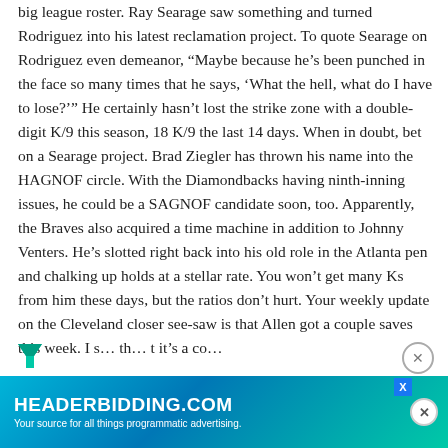big league roster. Ray Searage saw something and turned Rodriguez into his latest reclamation project. To quote Searage on Rodriguez even demeanor, “Maybe because he’s been punched in the face so many times that he says, ‘What the hell, what do I have to lose?’” He certainly hasn’t lost the strike zone with a double-digit K/9 this season, 18 K/9 the last 14 days. When in doubt, bet on a Searage project. Brad Ziegler has thrown his name into the HAGNOF circle. With the Diamondbacks having ninth-inning issues, he could be a SAGNOF candidate soon, too. Apparently, the Braves also acquired a time machine in addition to Johnny Venters. He’s slotted right back into his old role in the Atlanta pen and chalking up holds at a stellar rate. You won’t get many Ks from him these days, but the ratios don’t hurt. Your weekly update on the Cleveland closer see-saw is that Allen got a couple saves this week. I s… th… t it’s a co…
[Figure (other): Advertisement banner for HEADERBIDDING.COM with teal/blue gradient background. Text reads 'HEADERBIDDING.COM' in large bold white letters and 'Your source for all things programmatic advertising.' in smaller white text below. Has a close button (X in circle) on the right side and a blue X icon in top right corner.]